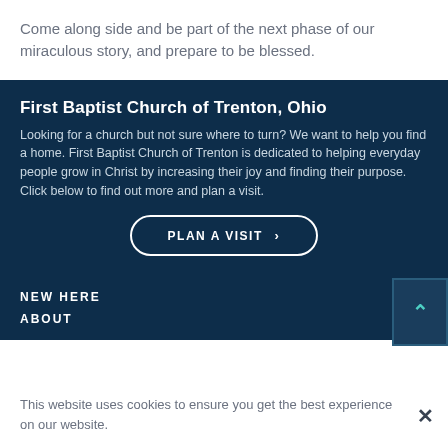Come along side and be part of the next phase of our miraculous story, and prepare to be blessed.
First Baptist Church of Trenton, Ohio
Looking for a church but not sure where to turn? We want to help you find a home. First Baptist Church of Trenton is dedicated to helping everyday people grow in Christ by increasing their joy and finding their purpose. Click below to find out more and plan a visit.
PLAN A VISIT ›
NEW HERE
ABOUT
This website uses cookies to ensure you get the best experience on our website.